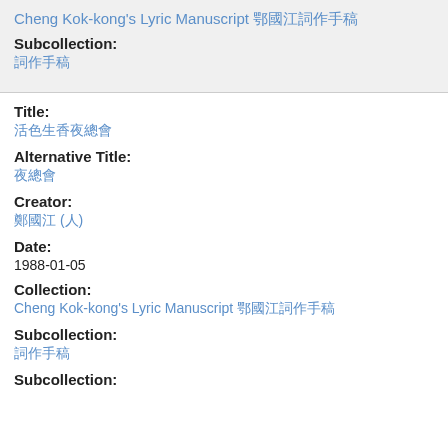Cheng Kok-kong's Lyric Manuscript 鄭國江詞作手稿
Subcollection:
詞作手稿
Title:
活色生香夜總會
Alternative Title:
夜總會
Creator:
鄭國江 (人)
Date:
1988-01-05
Collection:
Cheng Kok-kong's Lyric Manuscript 鄭國江詞作手稿
Subcollection:
詞作手稿
Subcollection: